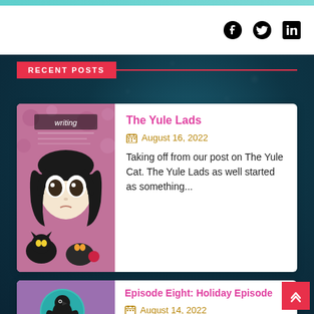RECENT POSTS
[Figure (illustration): Gothic illustrated girl with black hair and cat, on pink floral background, 'writing' text visible at top]
The Yule Lads
August 16, 2022
Taking off from our post on The Yule Cat. The Yule Lads as well started as something...
[Figure (illustration): Purple background with teal circle containing a black raven/crow illustration, text 'Another Episode of' at bottom]
Episode Eight: Holiday Episode
August 14, 2022